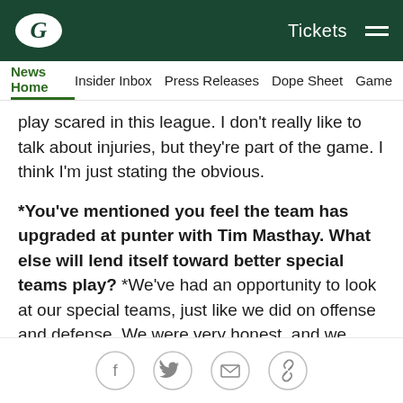Green Bay Packers logo | Tickets | Menu
News Home | Insider Inbox | Press Releases | Dope Sheet | Game
play scared in this league. I don't really like to talk about injuries, but they're part of the game. I think I'm just stating the obvious.
*You've mentioned you feel the team has upgraded at punter with Tim Masthay. What else will lend itself toward better special teams play? *We've had an opportunity to look at our special teams, just like we did on offense and defense. We were very honest, and we changed some things from a punt-protection standpoint that we think will help our punter, as far as our ability to cover. It's also the punter's responsibility to make sure we're only covering 40-45 percent of the